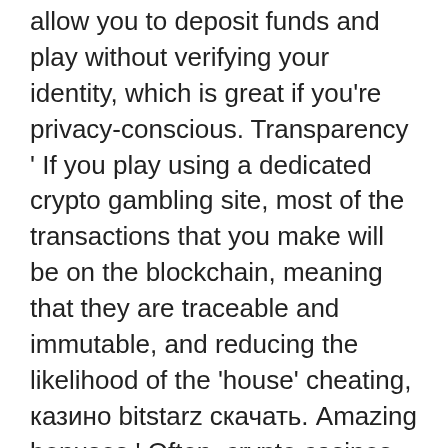allow you to deposit funds and play without verifying your identity, which is great if you're privacy-conscious. Transparency ' If you play using a dedicated crypto gambling site, most of the transactions that you make will be on the blockchain, meaning that they are traceable and immutable, and reducing the likelihood of the 'house' cheating, казино bitstarz скачать. Amazing bonuses ' Often, crypto casinos and gaming sites are able to offer bonuses and promotions which simply wouldn't be possible using regular fiat currencies! Better odds ' Everyone knows that casinos have a slight advantage over their players called 'house edge', and it's needed to keep casinos profitable. Coucou je partage mon expérience et la vôtre m'intéresse l'éditeur que je préfère chez eux est amatic par contre pour faire des gains c'est. Bonus code bitstarz casino pour obtenir un bonus de bienvenue exclusif de 100% jusqu'à 200 eur / 2 btc ainsi que